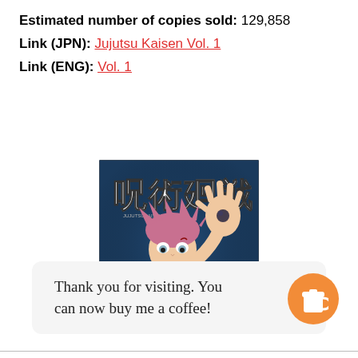Estimated number of copies sold: 129,858
Link (JPN): Jujutsu Kaisen Vol. 1
Link (ENG): Vol. 1
[Figure (illustration): Manga volume cover of Jujutsu Kaisen Vol. 1, showing the main character with pink spiky hair reaching a hand toward the viewer, with large Japanese kanji title characters and the number 1 on the right side, dark blue background.]
Thank you for visiting. You can now buy me a coffee!